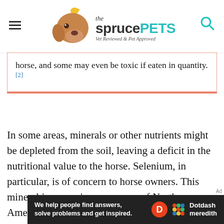[Figure (logo): The Spruce Pets logo with illustrated dog and bird, hamburger menu icon, and search icon]
horse, and some may even be toxic if eaten in quantity.[2]
In some areas, minerals or other nutrients might be depleted from the soil, leaving a deficit in the nutritional value to the horse. Selenium, in particular, is of concern to horse owners. This mineral is scarce in many areas of North America, and that means horses won't be getting enough from grass or hay. A balanced supplement is ideal for replacing this essential
[Figure (logo): Dotdash Meredith advertisement bar: 'We help people find answers, solve problems and get inspired.' with Dotdash Meredith logo]